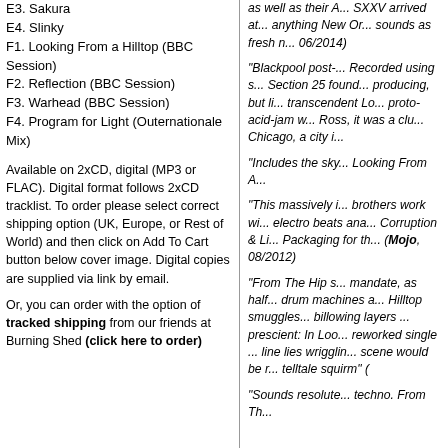E3. Sakura
E4. Slinky
F1. Looking From a Hilltop (BBC Session)
F2. Reflection (BBC Session)
F3. Warhead (BBC Session)
F4. Program for Light (Outernationale Mix)
Available on 2xCD, digital (MP3 or FLAC). Digital format follows 2xCD tracklist. To order please select correct shipping option (UK, Europe, or Rest of World) and then click on Add To Cart button below cover image. Digital copies are supplied via link by email.
Or, you can order with the option of tracked shipping from our friends at Burning Shed (click here to order)
as well as their A... SXXV arrived at... anything New Or... sounds as fresh n... 06/2014)
"Blackpool post-... Recorded using s... Section 25 found... producing, but li... transcendent Lo... proto-acid-jam w... Ross, it was a clu... Chicago, a city i...
"Includes the sky... Looking From A...
"This massively i... brothers work wi... electro beats ana... Corruption & Li... Packaging for th... (Mojo, 08/2012)
"From The Hip s... mandate, as half... drum machines a... Hilltop smuggles... billowing layers ... prescient: In Loo... reworked single ... line lies wrigglin... scene would be r... telltale squirm" (
"Sounds resolute... techno. From Th...